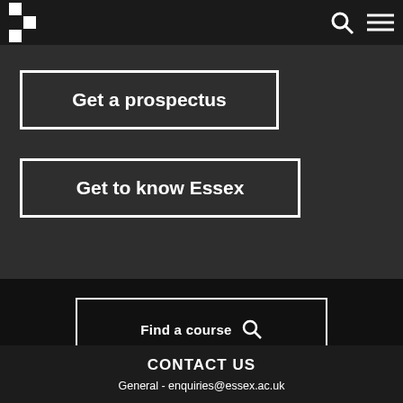University of Essex header with logo and navigation icons
[Figure (screenshot): Dark background hero image with two call-to-action buttons: 'Get a prospectus' and 'Get to know Essex']
Get a prospectus
Get to know Essex
Find a course
CONTACT US
General - enquiries@essex.ac.uk